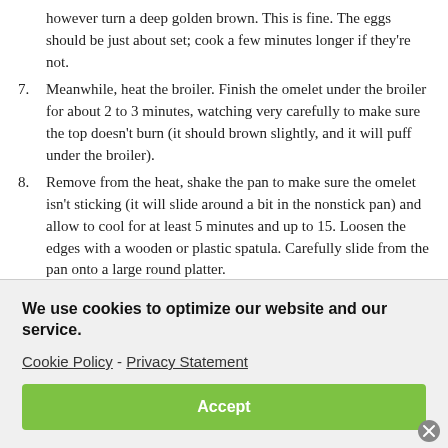however turn a deep golden brown. This is fine. The eggs should be just about set; cook a few minutes longer if they're not.
7. Meanwhile, heat the broiler. Finish the omelet under the broiler for about 2 to 3 minutes, watching very carefully to make sure the top doesn't burn (it should brown slightly, and it will puff under the broiler).
8. Remove from the heat, shake the pan to make sure the omelet isn't sticking (it will slide around a bit in the nonstick pan) and allow to cool for at least 5 minutes and up to 15. Loosen the edges with a wooden or plastic spatula. Carefully slide from the pan onto a large round platter.
We use cookies to optimize our website and our service.
Cookie Policy - Privacy Statement
Accept